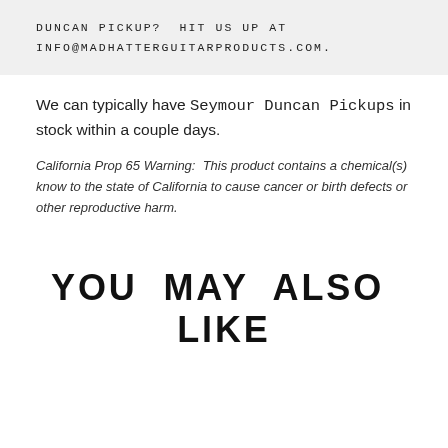DUNCAN PICKUP?  HIT US UP AT
INFO@MADHATTERGUITARPRODUCTS.COM.
We can typically have Seymour Duncan Pickups in stock within a couple days.
California Prop 65 Warning:  This product contains a chemical(s) know to the state of California to cause cancer or birth defects or other reproductive harm.
YOU MAY ALSO LIKE